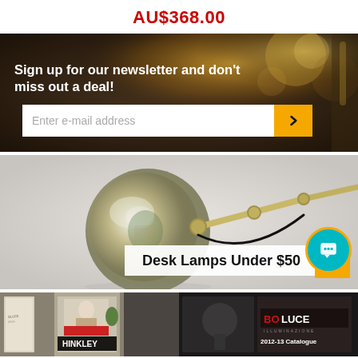AU$368.00
[Figure (infographic): Newsletter sign-up banner with dark background showing blurred warm light. Text reads: Sign up for our newsletter and don't miss out a deal! with an email input field and orange arrow button.]
[Figure (photo): Photo of a chrome/gold articulated desk lamp against a light gray background, with a label overlay reading 'Desk Lamps Under $50' and an orange arrow button. A teal chat bubble icon is visible at bottom right.]
[Figure (photo): Row of catalogue covers including Hinkley and Bo Luce Illuminazione 2012-13 Catalogue.]